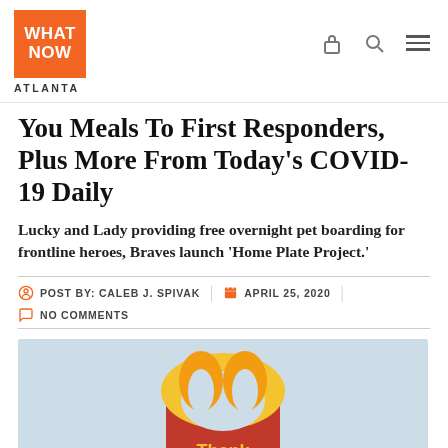WHAT NOW ATLANTA
You Meals To First Responders, Plus More From Today's COVID-19 Daily
Lucky and Lady providing free overnight pet boarding for frontline heroes, Braves launch 'Home Plate Project.'
POST BY: CALEB J. SPIVAK | APRIL 25, 2020 | NO COMMENTS
[Figure (photo): McDonald's Happy Meal box with golden arches logo and 'Thank You' text on a light blue background]